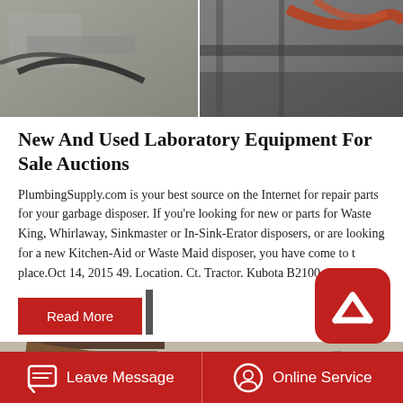[Figure (photo): Two industrial/equipment photos side by side at the top of the page — left shows machinery with cables and concrete, right shows equipment with red/orange cables or hoses.]
New And Used Laboratory Equipment For Sale Auctions
PlumbingSupply.com is your best source on the Internet for repair parts for your garbage disposer. If you're looking for new or parts for Waste King, Whirlaway, Sinkmaster or In-Sink-Erator disposers, or are looking for a new Kitchen-Aid or Waste Maid disposer, you have come to the place.Oct 14, 2015 49. Location. Ct. Tractor. Kubota B2100. First
[Figure (infographic): Red rounded square badge/icon with white upward chevron arrow symbol, overlaid on content.]
Read More
[Figure (photo): Industrial heavy equipment photo showing large machinery with a round red wheel/drum component, metal structures and framework in an outdoor or warehouse setting.]
Leave Message
Online Service